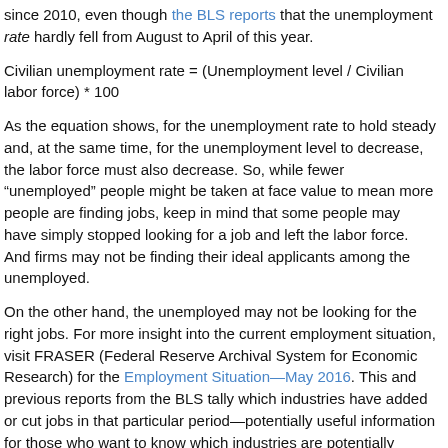since 2010, even though the BLS reports that the unemployment rate hardly fell from August to April of this year.
Civilian unemployment rate = (Unemployment level / Civilian labor force) * 100
As the equation shows, for the unemployment rate to hold steady and, at the same time, for the unemployment level to decrease, the labor force must also decrease. So, while fewer “unemployed” people might be taken at face value to mean more people are finding jobs, keep in mind that some people may have simply stopped looking for a job and left the labor force. And firms may not be finding their ideal applicants among the unemployed.
On the other hand, the unemployed may not be looking for the right jobs. For more insight into the current employment situation, visit FRASER (Federal Reserve Archival System for Economic Research) for the Employment Situation—May 2016. This and previous reports from the BLS tally which industries have added or cut jobs in that particular period—potentially useful information for those who want to know which industries are potentially looking to hire. In FRASER, you can explore plenty of interesting publications on employment throughout history. Happy hunting!